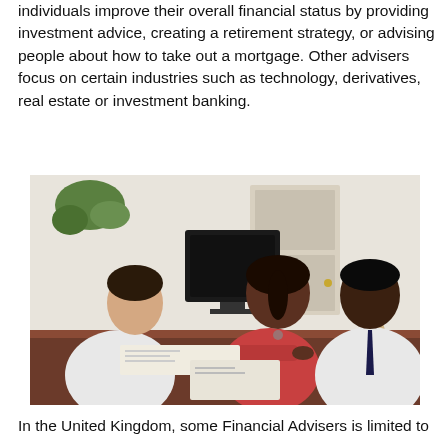individuals improve their overall financial status by providing investment advice, creating a retirement strategy, or advising people about how to take out a mortgage. Other advisers focus on certain industries such as technology, derivatives, real estate or investment banking.
[Figure (photo): A financial adviser meeting with a couple at a desk. The adviser, a white male in a white shirt, sits on the left reviewing documents. A Black woman in a red top and a Black man in a white shirt and dark tie sit across from him, all looking at paperwork on a dark wooden desk. A computer monitor and hourglass are visible in the background.]
In the United Kingdom, some Financial Advisers is limited to...